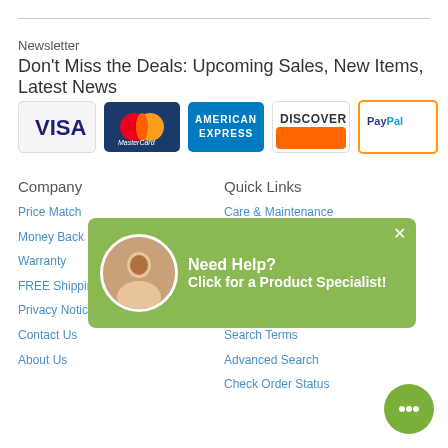Newsletter
Don't Miss the Deals: Upcoming Sales, New Items, Latest News
[Figure (logo): Payment method icons: Visa, MasterCard, American Express, Discover, PayPal]
Company
Price Match
Money Back Guarantee
Warranty
FREE Shipping
Privacy Notice
Contact Us
About Us
Quick Links
Care & Maintenance
Questions & Anwsers
Cushion Cleaning
Volume Pricing
Special Financing Options
Search Terms
Advanced Search
Check Order Status
[Figure (infographic): Green popup banner with customer service avatar: 'Need Help? Click for a Product Specialist!' with close button]
[Figure (infographic): Green circular chat bubble button in bottom-right corner]